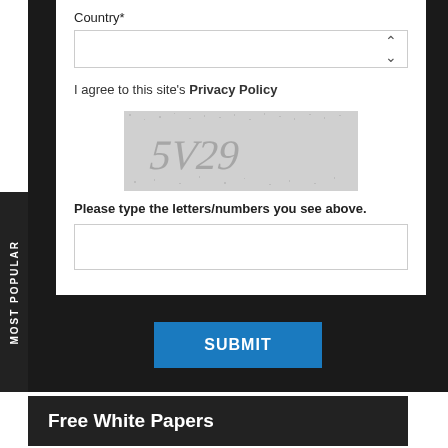Country*
[Figure (screenshot): Country dropdown select box with up/down arrows]
I agree to this site's Privacy Policy
[Figure (other): CAPTCHA image showing distorted text '5V29']
Please type the letters/numbers you see above.
[Figure (screenshot): Text input box for CAPTCHA entry]
SUBMIT
Free White Papers
IDC Spotlight: Preparing for Disruption with IT